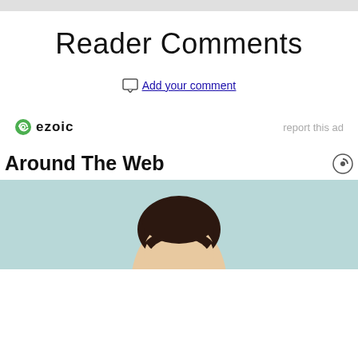Reader Comments
Add your comment
[Figure (logo): Ezoic logo with green circular icon and text 'ezoic']
report this ad
Around The Web
[Figure (photo): Cropped photo of a man with dark hair against a light teal/blue background]